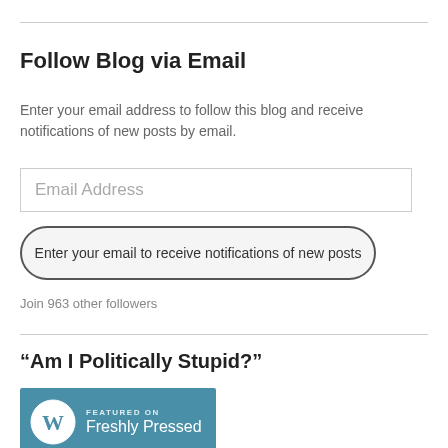Follow Blog via Email
Enter your email address to follow this blog and receive notifications of new posts by email.
[Figure (screenshot): Email Address input field (text box with placeholder text 'Email Address')]
[Figure (screenshot): Button with rounded rectangle border and text 'Enter your email to receive notifications of new posts']
Join 963 other followers
“Am I Politically Stupid?”
[Figure (logo): WordPress 'Featured on Freshly Pressed' badge — blue rectangle with WordPress logo and text 'FEATURED ON Freshly Pressed']